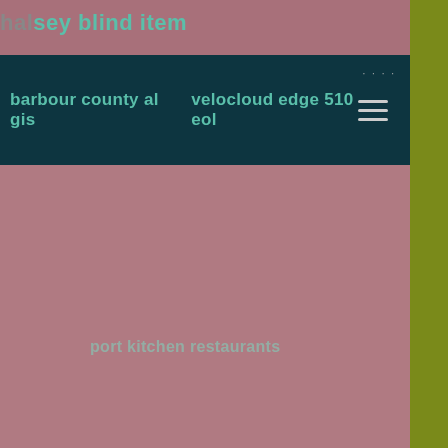halsey blind item
barbour county al gis   velocloud edge 510 eol
port kitchen restaurants